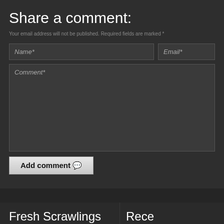Share a comment:
Your email address will not be published. Required fields are marked *
[Figure (screenshot): Comment form with Name*, Email*, Comment* fields and Add comment button]
Fresh Scrawlings
twiggyleaf on CotY 2019 Results!
GamingMegaverse on CotY 2019 Results!
Rece
Obsidian...
2022: In...
Update...